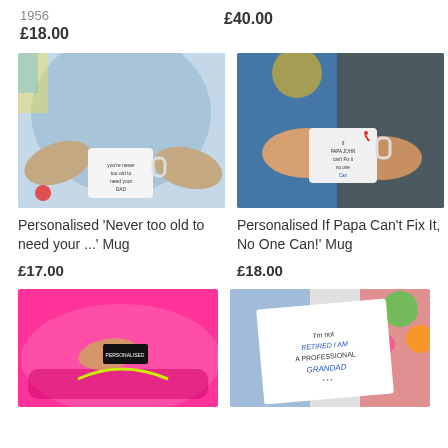1956
£18.00
£40.00
[Figure (photo): Person holding a white mug with text 'You're never too old to need your Dad']
[Figure (photo): Two people holding a white mug with text 'If Papa John can't fix it no one can']
Personalised 'Never too old to need your ...' Mug
£17.00
Personalised If Papa Can't Fix It, No One Can!' Mug
£18.00
[Figure (photo): Close-up of pink running shoe with personalised name tag being attached]
[Figure (photo): White card with text 'I'm not retired I am a professional Grandad' with colourful background]